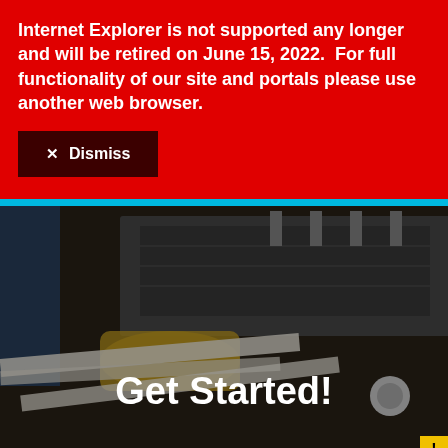Internet Explorer is not supported any longer and will be retired on June 15, 2022.  For full functionality of our site and portals please use another web browser.
✕ Dismiss
[Figure (photo): Industrial printing/binding machine with papers running through it, dimly lit scene with worker's hands visible]
Get Started!